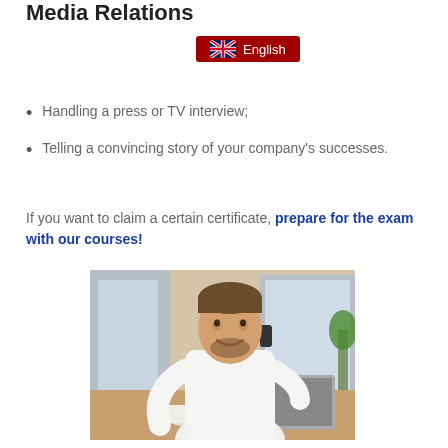Media Relations
[Figure (other): UK flag icon with 'English' text label on dark red background badge]
Handling a press or TV interview;
Telling a convincing story of your company's successes.
If you want to claim a certain certificate, prepare for the exam with our courses!
[Figure (photo): A man in a white shirt sitting at a desk, smiling and talking on a phone with a laptop and coffee cup in front of him, modern office background]